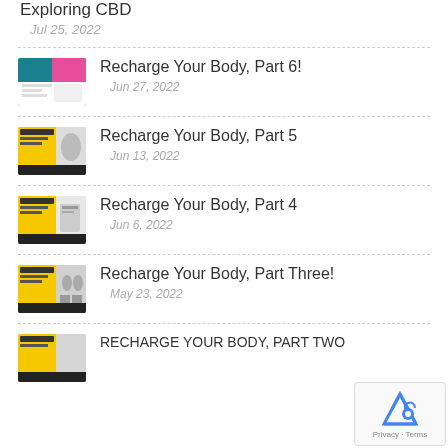Exploring CBD
Jul 25, 2022
Recharge Your Body, Part 6! — Jun 27, 2022
Recharge Your Body, Part 5 — Jun 13, 2022
Recharge Your Body, Part 4 — Jun 6, 2022
Recharge Your Body, Part Three! — May 23, 2022
RECHARGE YOUR BODY, PART TWO